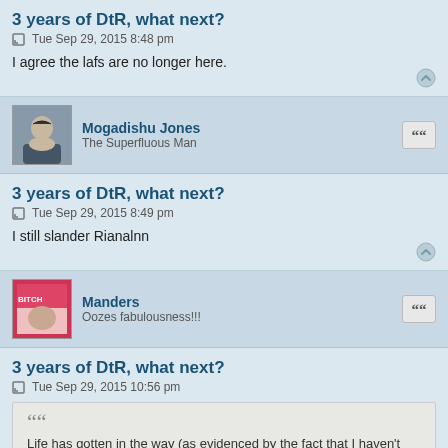3 years of DtR, what next?
Tue Sep 29, 2015 8:48 pm
I agree the lafs are no longer here.
Mogadishu Jones
The Superfluous Man
3 years of DtR, what next?
Tue Sep 29, 2015 8:49 pm
I still slander Rianalnn
Manders
Oozes fabulousness!!!
3 years of DtR, what next?
Tue Sep 29, 2015 10:56 pm
Life has gotten in the way (as evidenced by the fact that I haven't read most of what's above this post), and I was never a top notch content